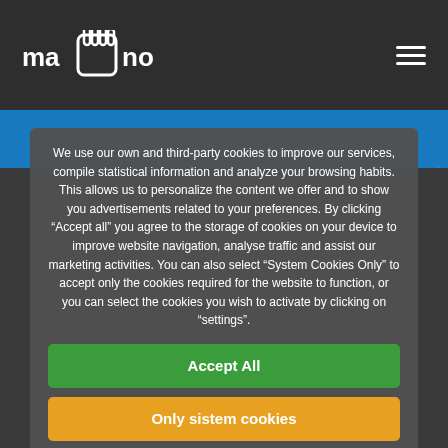mano (logo with hand icon)
[Figure (screenshot): Blue banner strip at top of page content area]
We use our own and third-party cookies to improve our services, compile statistical information and analyze your browsing habits. This allows us to personalize the content we offer and to show you advertisements related to your preferences. By clicking "Accept all" you agree to the storage of cookies on your device to improve website navigation, analyse traffic and assist our marketing activities. You can also select "System Cookies Only" to accept only the cookies required for the website to function, or you can select the cookies you wish to activate by clicking on "settings".
Accept All
Only sistem cookies
Configuration